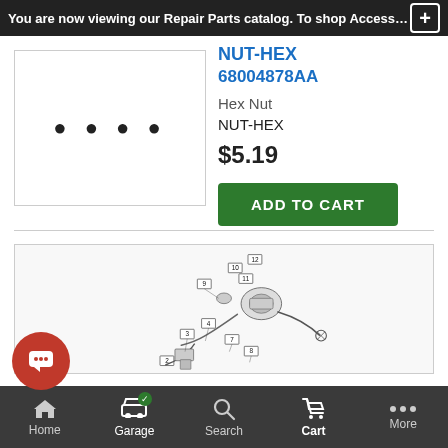You are now viewing our Repair Parts catalog. To shop Accessori
[Figure (photo): Product image area with 4 dot indicators (image carousel)]
NUT-HEX
68004878AA
Hex Nut
NUT-HEX
$5.19
ADD TO CART
[Figure (engineering-diagram): Exploded view engineering diagram of automotive parts with numbered callouts: 2, 3, 4, 7, 8, 9, 10, 11, 12]
Home | Garage | Search | Cart | More